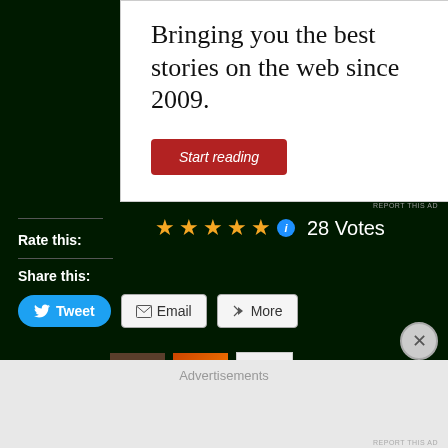[Figure (screenshot): Advertisement panel with white background showing text 'Bringing you the best stories on the web since 2009.' and a red 'Start reading' button]
REPORT THIS AD
[Figure (infographic): Five gold stars rating with info icon]
28 Votes
Rate this:
Share this:
[Figure (screenshot): Tweet button (blue), Email button, More button]
[Figure (screenshot): Like button with star icon, and three thumbnail images]
Advertisements
REPORT THIS AD